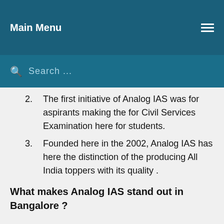Main Menu
Search ...
2. The first initiative of Analog IAS was for aspirants making the for Civil Services Examination here for students.
3. Founded here in the 2002, Analog IAS has here the distinction of the producing All India toppers with its quality .
What makes Analog IAS stand out in Bangalore ?